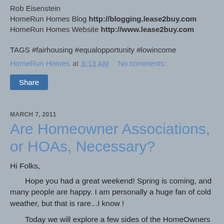Rob Eisenstein
HomeRun Homes Blog http://blogging.lease2buy.com
HomeRun Homes Website http://www.lease2buy.com
TAGS #fairhousing #equalopportunity #lowincome
HomeRun Homes at 6:13 AM    No comments:
Share
MARCH 7, 2011
Are Homeowner Associations, or HOAs, Necessary?
Hi Folks,
Hope you had a great weekend! Spring is coming, and many people are happy. I am personally a huge fan of cold weather, but that is rare...I know !
Today we will explore a few sides of the HomeOwners